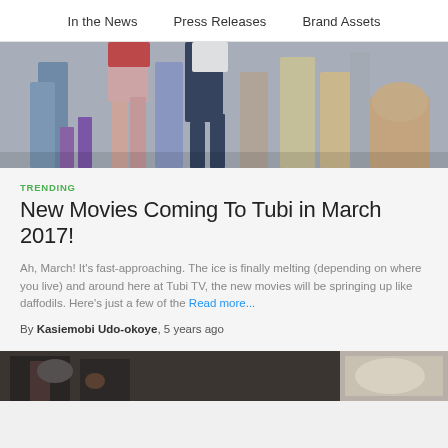In the News   Press Releases   Brand Assets
[Figure (photo): Crowded scene of people dancing or moving, legs and lower bodies visible, colorful clothing]
TRENDING
New Movies Coming To Tubi in March 2017!
Ah, March! It's fast-approaching. The ice is finally melting (depending on where you live) and around here at Tubi TV, the new movies will be springing up like daffodils. Here's just a few of the Read more...
By Kasiemobi Udo-okoye, 5 years ago
[Figure (photo): Partial image of two photos at bottom of page, dark scene on left and light scene on right]